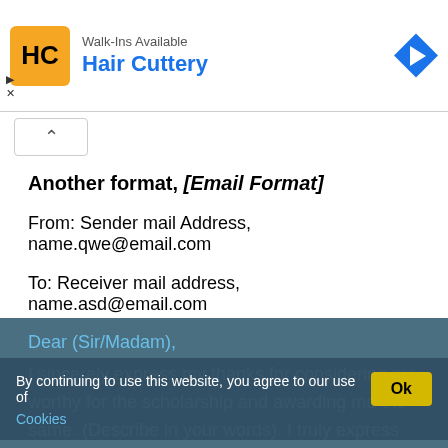[Figure (screenshot): Hair Cuttery advertisement banner with logo and arrow icon]
Another format, [Email Format]
From: Sender mail Address, name.qwe@email.com
To: Receiver mail address, name.asd@email.com
Subject: Thanks for the scholarship
Dear (Sir/Madam),
I sincerely express my thanks for considering me worthy for the scholarship and awarding me the same. (Describe in your words). I truly express my gratitude from the bottom of my heart for awarding
By continuing to use this website, you agree to our use of Cookies